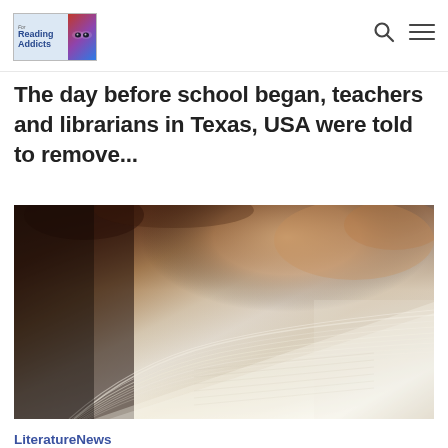Reading Addicts — navigation logo, search icon, menu icon
The day before school began, teachers and librarians in Texas, USA were told to remove...
[Figure (photo): Close-up photo of an open book with pages fanning out, a person's hand visible in the blurred background]
LiteratureNews
May 25, 2022